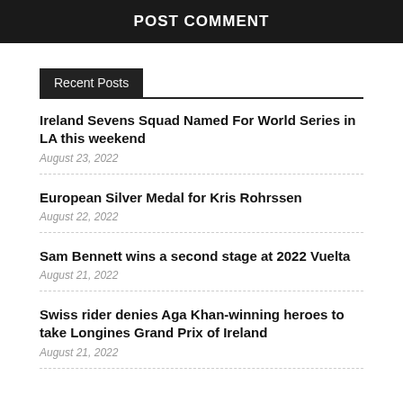POST COMMENT
Recent Posts
Ireland Sevens Squad Named For World Series in LA this weekend
August 23, 2022
European Silver Medal for Kris Rohrssen
August 22, 2022
Sam Bennett wins a second stage at 2022 Vuelta
August 21, 2022
Swiss rider denies Aga Khan-winning heroes to take Longines Grand Prix of Ireland
August 21, 2022